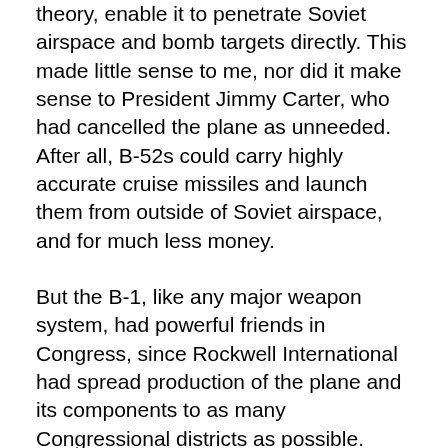theory, enable it to penetrate Soviet airspace and bomb targets directly. This made little sense to me, nor did it make sense to President Jimmy Carter, who had cancelled the plane as unneeded. After all, B-52s could carry highly accurate cruise missiles and launch them from outside of Soviet airspace, and for much less money.
But the B-1, like any major weapon system, had powerful friends in Congress, since Rockwell International had spread production of the plane and its components to as many Congressional districts as possible. When Ronald Reagan became president in 1981, he quickly reversed Carter's decision. It wasn't about strategy. It was about business and profit justified in the name of sending a tough message to the “Evil Empire.” Meanwhile, the Soviet Union collapsed a few years later and the U.S. was stuck with 100 B-1 bombers it didn't need. Time has proven it to be an expensive plane to maintain, and one that has only proven (fortunately) to the mission of